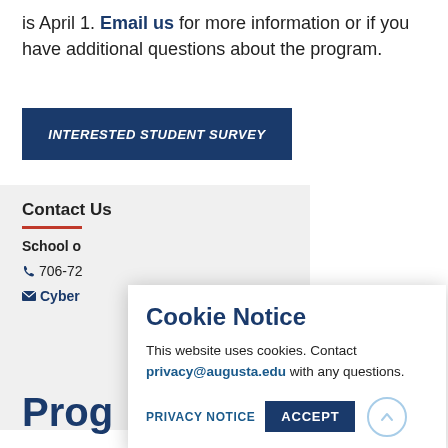is April 1. Email us for more information or if you have additional questions about the program.
INTERESTED STUDENT SURVEY
Contact Us
School o...
706-72...
Cyber...
Prog...
Cookie Notice
This website uses cookies. Contact privacy@augusta.edu with any questions.
PRIVACY NOTICE   ACCEPT